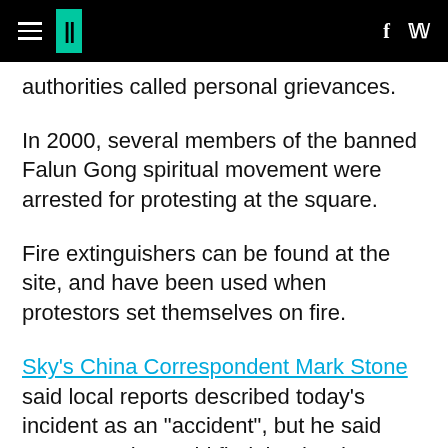HuffPost navigation header with logo and social icons
authorities called personal grievances.
In 2000, several members of the banned Falun Gong spiritual movement were arrested for protesting at the square.
Fire extinguishers can be found at the site, and have been used when protestors set themselves on fire.
Sky's China Correspondent Mark Stone said local reports described today's incident as an "accident", but he said many people would find that hard to believe given the "politically-sensitive" location.